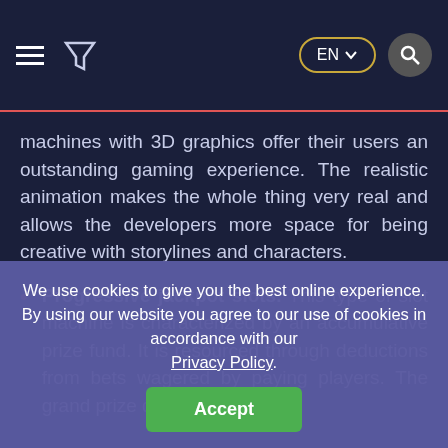EN  [navigation bar with hamburger menu, filter icon, language selector EN, and search button]
machines with 3D graphics offer their users an outstanding gaming experience. The realistic animation makes the whole thing very real and allows the developers more space for being creative with storylines and characters.
Progressive jackpot slots. This type of slot machine is characterized by an accumulative prize fund. It is resourced through deductions from bets wagered by paying players. The grand prize drawing
We use cookies to give you the best online experience. By using our website you agree to our use of cookies in accordance with our Privacy Policy.
Accept